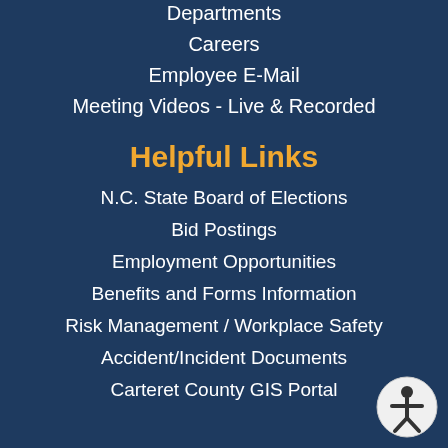Departments
Careers
Employee E-Mail
Meeting Videos - Live & Recorded
Helpful Links
N.C. State Board of Elections
Bid Postings
Employment Opportunities
Benefits and Forms Information
Risk Management / Workplace Safety
Accident/Incident Documents
Carteret County GIS Portal
[Figure (illustration): Accessibility icon - circular button with person symbol]